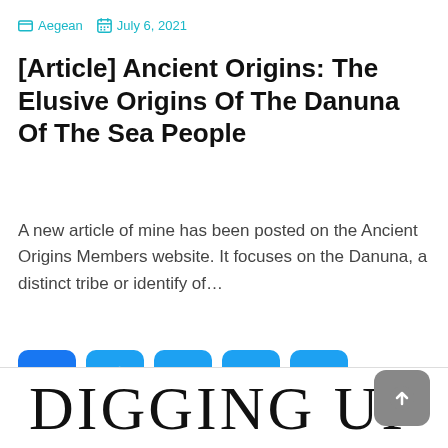Aegean  July 6, 2021
[Article] Ancient Origins: The Elusive Origins Of The Danuna Of The Sea People
A new article of mine has been posted on the Ancient Origins Members website. It focuses on the Danuna, a distinct tribe or identify of…
[Figure (infographic): Social share buttons: Facebook, Twitter, Email, Link, More]
READ MORE →
DIGGING UP